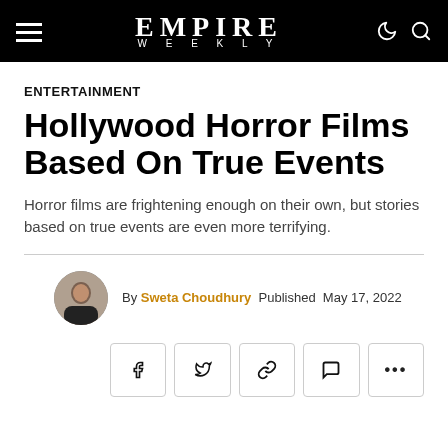EMPIRE WEEKLY
ENTERTAINMENT
Hollywood Horror Films Based On True Events
Horror films are frightening enough on their own, but stories based on true events are even more terrifying.
By Sweta Choudhury Published May 17, 2022